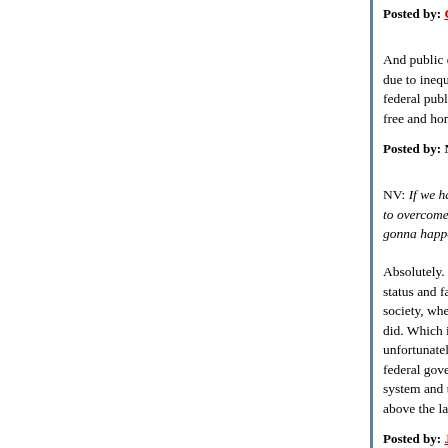Posted by: GoodOleBoy | January 21, 2010 at 01:41 AM
And public education can also be utterly abysmal due to inequity of funding and resources. If we ha federal public education could do wonders to ove free and home of the IGMFU, that's not gonna ha
Posted by: Nombrilisme Vide | January 21, 2010 at 01:52 AM
NV: If we had enough political will, real federal pu to overcome that, but in the land of the free and h gonna happen, ever.
Absolutely. Equal access for all to excellent educa status and family income is one of the biggest ma society, where children can and do achieve more did. Which is of course why right-wingers are inva unfortunately, the US has swung between a right- federal government for decades. Which in turn ex system and the existence of an aristocratic class above the law.
Posted by: Jesurgislac | January 21, 2010 at 04:48 AM